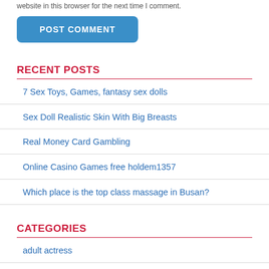website in this browser for the next time I comment.
POST COMMENT
RECENT POSTS
7 Sex Toys, Games, fantasy sex dolls
Sex Doll Realistic Skin With Big Breasts
Real Money Card Gambling
Online Casino Games free holdem1357
Which place is the top class massage in Busan?
CATEGORIES
adult actress